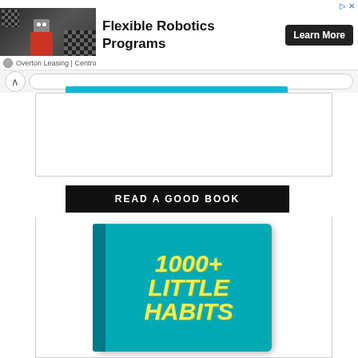[Figure (infographic): Advertisement banner for Flexible Robotics Programs by Overton Leasing | Centro, featuring a robot image on the left, bold headline text in the center, and a 'Learn More' CTA button on the right.]
READ A GOOD BOOK
[Figure (photo): Book cover for '1000+ Little Habits' shown on teal/cyan background with large yellow italic text.]